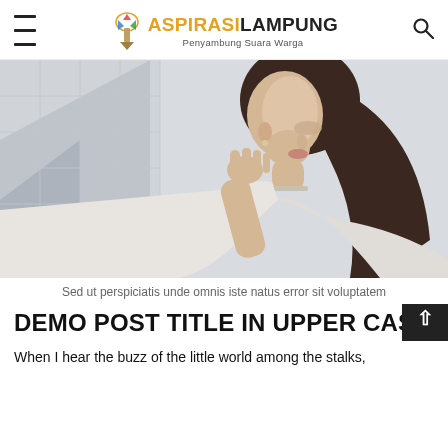ASPIRASI LAMPUNG — Penyambung Suara Warga
[Figure (photo): Young woman with long brown hair in a white sleeveless top, posing thoughtfully with hand near chin against a light gray tiled wall background.]
Sed ut perspiciatis unde omnis iste natus error sit voluptatem
DEMO POST TITLE IN UPPER CAS…
When I hear the buzz of the little world among the stalks,